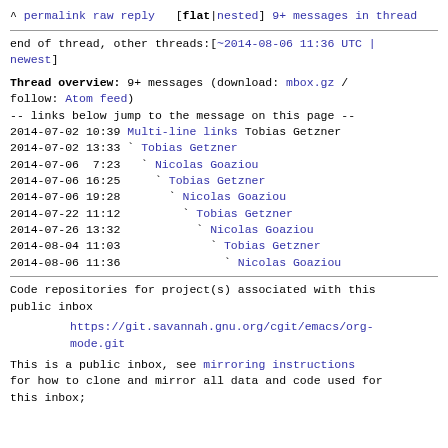^ permalink raw reply  [flat|nested] 9+ messages in thread
end of thread, other threads:[~2014-08-06 11:36 UTC | newest]
Thread overview: 9+ messages (download: mbox.gz / follow: Atom feed)
-- links below jump to the message on this page --
2014-07-02 10:39 Multi-line links Tobias Getzner
2014-07-02 13:33 ` Tobias Getzner
2014-07-06  7:23   ` Nicolas Goaziou
2014-07-06 16:25     ` Tobias Getzner
2014-07-06 19:28       ` Nicolas Goaziou
2014-07-22 11:12         ` Tobias Getzner
2014-07-26 13:32           ` Nicolas Goaziou
2014-08-04 11:03             ` Tobias Getzner
2014-08-06 11:36               ` Nicolas Goaziou
Code repositories for project(s) associated with this public inbox
https://git.savannah.gnu.org/cgit/emacs/org-mode.git
This is a public inbox, see mirroring instructions for how to clone and mirror all data and code used for this inbox;